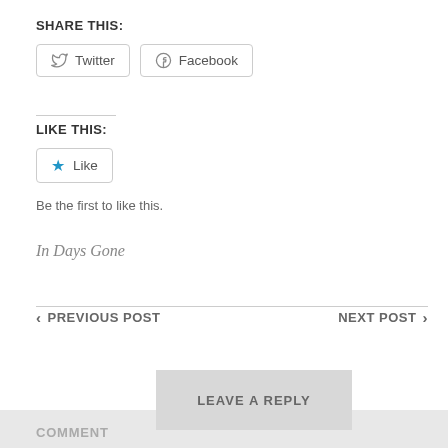SHARE THIS:
Twitter  Facebook
LIKE THIS:
★ Like
Be the first to like this.
In Days Gone
< PREVIOUS POST    NEXT POST >
LEAVE A REPLY
COMMENT